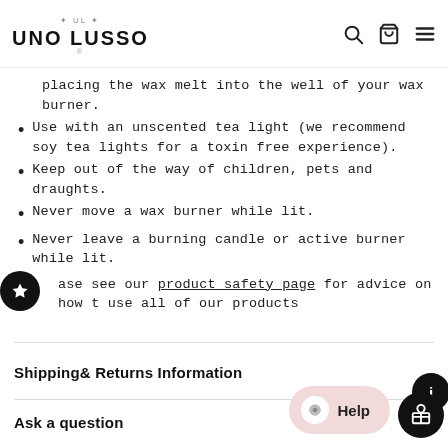UNO LUSSO
placing the wax melt into the well of your wax burner.
Use with an unscented tea light (we recommend soy tea lights for a toxin free experience).
Keep out of the way of children, pets and draughts.
Never move a wax burner while lit.
Never leave a burning candle or active burner while lit.
Please see our product safety page for advice on how to use all of our products
Shipping& Returns Information
Ask a question